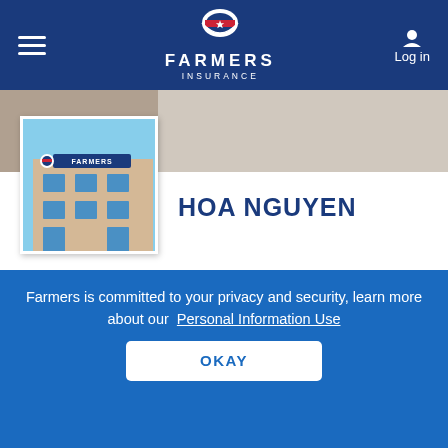[Figure (screenshot): Farmers Insurance website header with logo, hamburger menu, and Log in button]
[Figure (photo): Farmers Insurance building exterior photo used as background banner]
[Figure (photo): Farmers Insurance building thumbnail — agent profile photo]
HOA NGUYEN
Home Insurance Agent in Blaine, MN
GET A QUOTE
CALL ME
Farmers is committed to your privacy and security, learn more about our Personal Information Use
OKAY